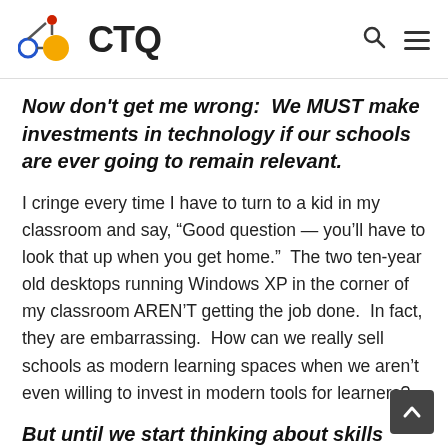CTQ
Now don't get me wrong:  We MUST make investments in technology if our schools are ever going to remain relevant.
I cringe every time I have to turn to a kid in my classroom and say, “Good question — you’ll have to look that up when you get home.”  The two ten-year old desktops running Windows XP in the corner of my classroom AREN’T getting the job done.  In fact, they are embarrassing.  How can we really sell schools as modern learning spaces when we aren’t even willing to invest in modern tools for learners?
But until we start thinking about skills first, no amount of #edtech investment will change the way that we children learn.